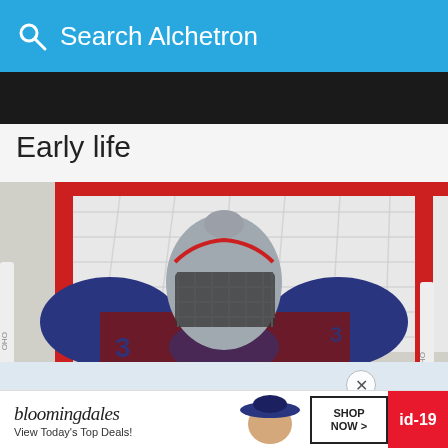Search Alchetron
Early life
[Figure (photo): Ice hockey goalie wearing Colorado Avalanche uniform and goalie mask, crouching in front of a red goal net on the ice. The goalie wears the number 33 jersey.]
bloomingdales — View Today's Top Deals! — SHOP NOW > — id-19